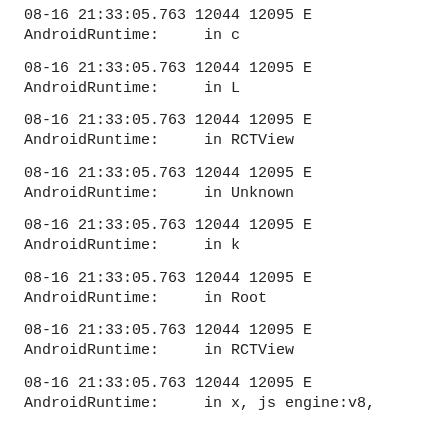08-16 21:33:05.763 12044 12095 E AndroidRuntime:     in c
08-16 21:33:05.763 12044 12095 E AndroidRuntime:     in L
08-16 21:33:05.763 12044 12095 E AndroidRuntime:     in RCTView
08-16 21:33:05.763 12044 12095 E AndroidRuntime:     in Unknown
08-16 21:33:05.763 12044 12095 E AndroidRuntime:     in k
08-16 21:33:05.763 12044 12095 E AndroidRuntime:     in Root
08-16 21:33:05.763 12044 12095 E AndroidRuntime:     in RCTView
08-16 21:33:05.763 12044 12095 E AndroidRuntime:     in x, js engine:v8,